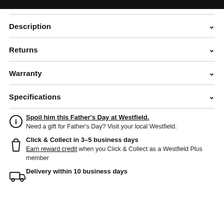[Figure (other): Black bar at top of page]
Description
Returns
Warranty
Specifications
Spoil him this Father's Day at Westfield. Need a gift for Father's Day? Visit your local Westfield.
Click & Collect in 3–5 business days. Earn reward credit when you Click & Collect as a Westfield Plus member
Delivery within 10 business days